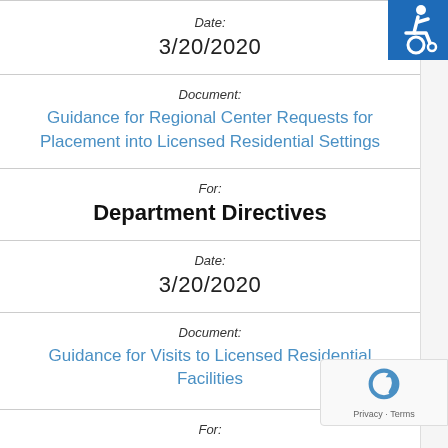Date:
3/20/2020
Document:
Guidance for Regional Center Requests for Placement into Licensed Residential Settings
For:
Department Directives
Date:
3/20/2020
Document:
Guidance for Visits to Licensed Residential Facilities
For:
[Figure (logo): Accessibility icon — wheelchair user symbol in white on blue background]
[Figure (logo): Google reCAPTCHA badge with Privacy and Terms links]